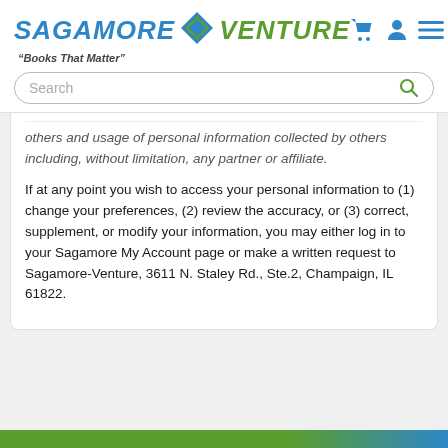[Figure (logo): Sagamore Venture logo with diamond icon, shopping cart, user icon, and hamburger menu icons]
[Figure (screenshot): Search bar with rounded border and magnifying glass icon]
others and usage of personal information collected by others including, without limitation, any partner or affiliate.
If at any point you wish to access your personal information to (1) change your preferences, (2) review the accuracy, or (3) correct, supplement, or modify your information, you may either log in to your Sagamore My Account page or make a written request to Sagamore-Venture, 3611 N. Staley Rd., Ste.2, Champaign, IL 61822.